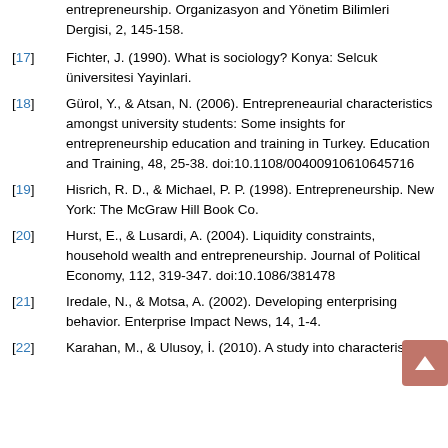entrepreneurship. Organizasyon and Yönetim Bilimleri Dergisi, 2, 145-158.
[17] Fichter, J. (1990). What is sociology? Konya: Selcuk üniversitesi Yayinlari.
[18] Gürol, Y., & Atsan, N. (2006). Entrepreneaurial characteristics amongst university students: Some insights for entrepreneurship education and training in Turkey. Education and Training, 48, 25-38. doi:10.1108/00400910610645716
[19] Hisrich, R. D., & Michael, P. P. (1998). Entrepreneurship. New York: The McGraw Hill Book Co.
[20] Hurst, E., & Lusardi, A. (2004). Liquidity constraints, household wealth and entrepreneurship. Journal of Political Economy, 112, 319-347. doi:10.1086/381478
[21] Iredale, N., & Motsa, A. (2002). Developing enterprising behavior. Enterprise Impact News, 14, 1-4.
[22] Karahan, M., & Ulusoy, İ. (2010). A study into characteristics...